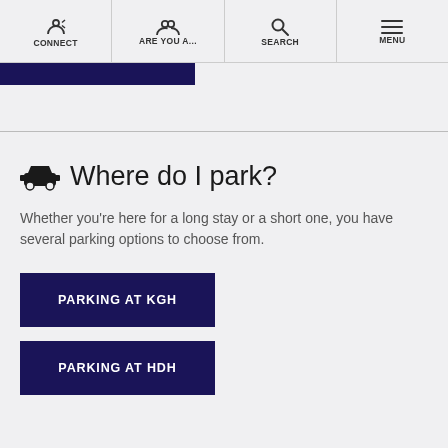CONNECT | ARE YOU A... | SEARCH | MENU
Where do I park?
Whether you're here for a long stay or a short one, you have several parking options to choose from.
PARKING AT KGH
PARKING AT HDH